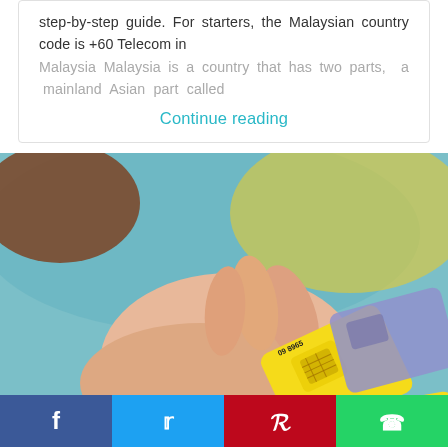step-by-step guide. For starters, the Malaysian country code is +60 Telecom in Malaysia Malaysia is a country that has two parts, a mainland Asian part called
Continue reading
[Figure (photo): A hand holding SIM cards including a yellow MPT SIM card with number 09 8965 and a purple SIM card, resting on a teal/blue fabric background. Another yellow SIM card is partially visible in the lower right.]